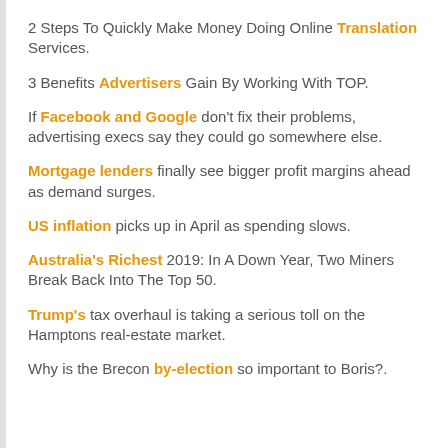2 Steps To Quickly Make Money Doing Online Translation Services.
3 Benefits Advertisers Gain By Working With TOP.
If Facebook and Google don't fix their problems, advertising execs say they could go somewhere else.
Mortgage lenders finally see bigger profit margins ahead as demand surges.
US inflation picks up in April as spending slows.
Australia's Richest 2019: In A Down Year, Two Miners Break Back Into The Top 50.
Trump's tax overhaul is taking a serious toll on the Hamptons real-estate market.
Why is the Brecon by-election so important to Boris?.